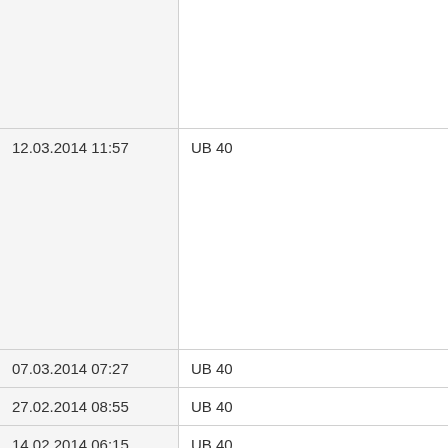| Date/Time | Code |
| --- | --- |
|  |  |
| 12.03.2014 11:57 | UB 40 |
| 07.03.2014 07:27 | UB 40 |
| 27.02.2014 08:55 | UB 40 |
| 14.02.2014 06:15 | UB 40 |
| 10.02.2014 12:55 | UB 40 |
| 04.02.2014 10:30 | UB 40 |
|  |  |